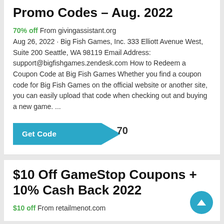Promo Codes – Aug. 2022
70% off From givingassistant.org
Aug 26, 2022 · Big Fish Games, Inc. 333 Elliott Avenue West, Suite 200 Seattle, WA 98119 Email Address: support@bigfishgames.zendesk.com How to Redeem a Coupon Code at Big Fish Games Whether you find a coupon code for Big Fish Games on the official website or another site, you can easily upload that code when checking out and buying a new game. ...
[Figure (other): Get Code button with code label 70]
$10 Off GameStop Coupons + 10% Cash Back 2022
$10 off From retailmenot.com